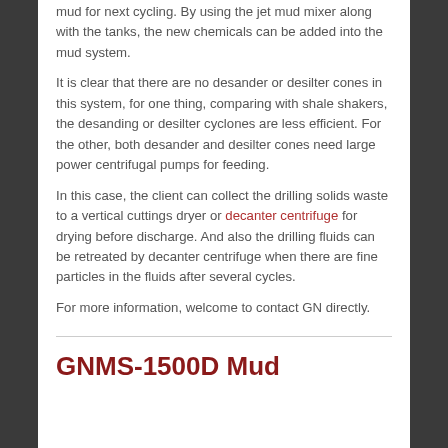mud for next cycling. By using the jet mud mixer along with the tanks, the new chemicals can be added into the mud system.
It is clear that there are no desander or desilter cones in this system, for one thing, comparing with shale shakers, the desanding or desilter cyclones are less efficient. For the other, both desander and desilter cones need large power centrifugal pumps for feeding.
In this case, the client can collect the drilling solids waste to a vertical cuttings dryer or decanter centrifuge for drying before discharge. And also the drilling fluids can be retreated by decanter centrifuge when there are fine particles in the fluids after several cycles.
For more information, welcome to contact GN directly.
GNMS-1500D Mud